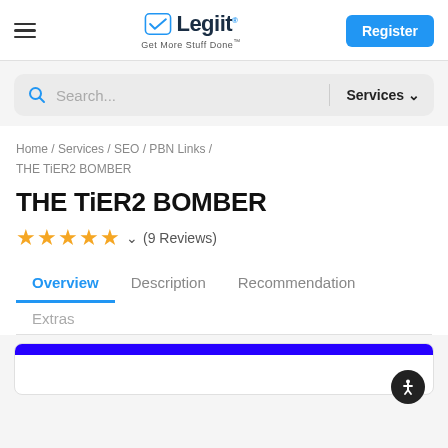[Figure (logo): Legiit logo with checkmark and tagline 'Get More Stuff Done']
Register
Search...   Services
Home / Services / SEO / PBN Links / THE TiER2 BOMBER
THE TiER2 BOMBER
★★★★★ (9 Reviews)
Overview   Description   Recommendation   Extras